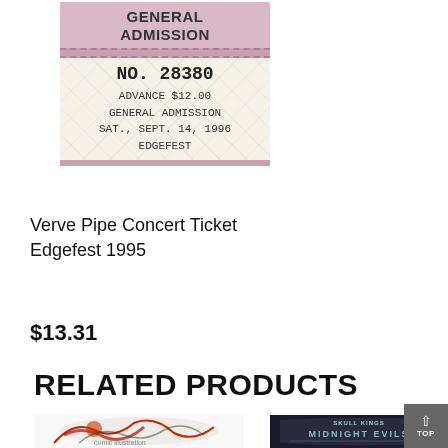[Figure (photo): Concert ticket stub for Edgefest, General Admission, No. 28380, Advance $12.00, Sat. Sept. 14 1996]
Verve Pipe Concert Ticket Edgefest 1995
$13.31
RELATED PRODUCTS
[Figure (illustration): Comic book style illustration of a character]
[Figure (photo): Midnight Evils patch or badge with dark background and light blue text]